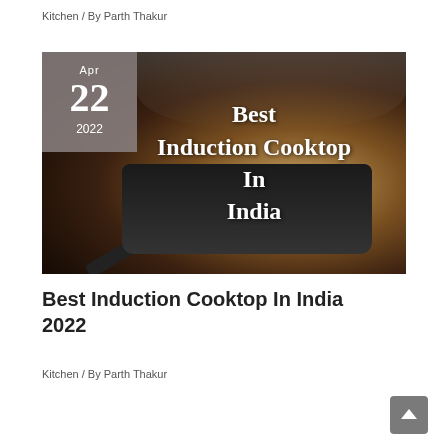Kitchen / By Parth Thakur
[Figure (photo): Article featured image showing an induction cooktop with a pot and steam, overlaid with text 'Best Induction Cooktop In India' and a date badge showing Apr 22 2022]
Best Induction Cooktop In India 2022
Kitchen / By Parth Thakur